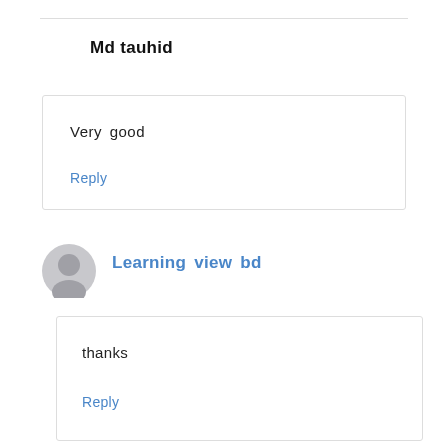Md tauhid
Very good
Reply
Learning view bd
thanks
Reply